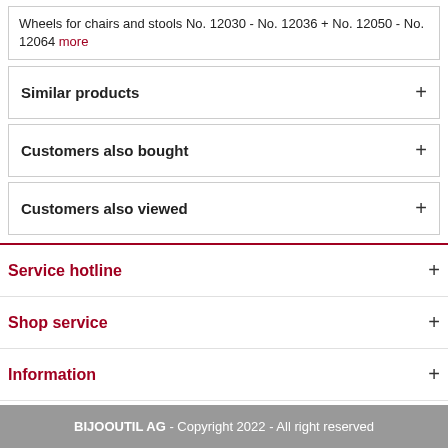Wheels for chairs and stools No. 12030 - No. 12036 + No. 12050 - No. 12064 more
Similar products +
Customers also bought +
Customers also viewed +
Service hotline +
Shop service +
Information +
Newsletter +
BIJOOUTIL AG - Copyright 2022 - All right reserved